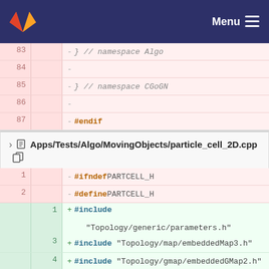Menu
| old | new | code |
| --- | --- | --- |
| 83 |  | - } // namespace Algo |
| 84 |  | - |
| 85 |  | - } // namespace CGoGN |
| 86 |  | - |
| 87 |  | - #endif |
Apps/Tests/Algo/MovingObjects/particle_cell_2D.cpp
| old | new | code |
| --- | --- | --- |
| 1 |  | - #ifndef PARTCELL_H |
| 2 |  | - #define PARTCELL_H |
|  | 1 | + #include "Topology/generic/parameters.h" |
|  | 2 | + #include "Topology/map/embeddedMap2.h" |
|  | 3 | + #include "Topology/map/embeddedMap3.h" |
|  | 4 | + #include "Topology/gmap/embeddedGMap2.h" |
| 3 | 5 |  |